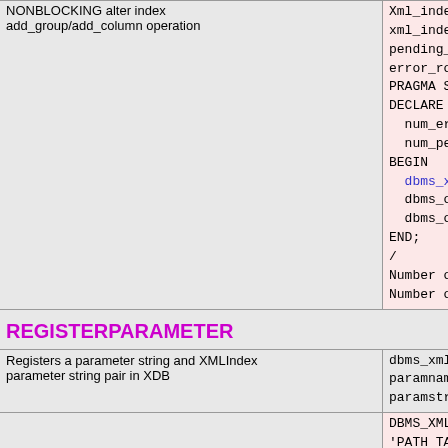NONBLOCKING alter index add_group/add_column operation
Xml_index_sche xml_index_name pending_row_co error_row_coun PRAGMA SUPPLE DECLARE num_errored N num_pending N BEGIN dbms_xmlinde dbms_output. dbms_output. END; / Number of rows Number of rows
REGISTERPARAMETER
Registers a parameter string and XMLIndex parameter string pair in XDB
dbms_xmlindex. paramname IN V paramstr  IN C
DBMS_XMLINDEX. 'PATH TABLE po PATHS(NAMESPA